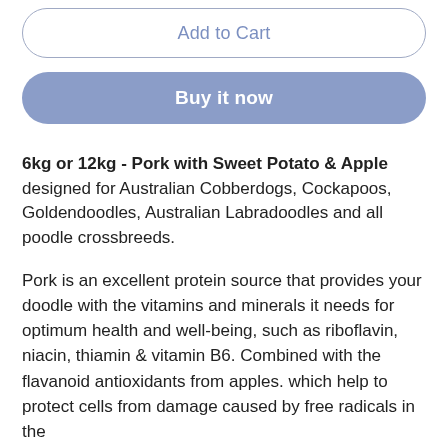Add to Cart
Buy it now
6kg or 12kg - Pork with Sweet Potato & Apple designed for Australian Cobberdogs, Cockapoos, Goldendoodles, Australian Labradoodles and all poodle crossbreeds.
Pork is an excellent protein source that provides your doodle with the vitamins and minerals it needs for optimum health and well-being, such as riboflavin, niacin, thiamin & vitamin B6. Combined with the flavanoid antioxidants from apples. which help to protect cells from damage caused by free radicals in the...